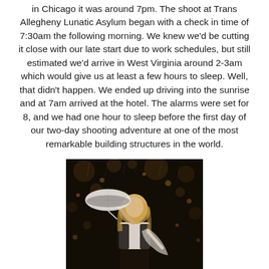in Chicago it was around 7pm. The shoot at Trans Allegheny Lunatic Asylum began with a check in time of 7:30am the following morning. We knew we'd be cutting it close with our late start due to work schedules, but still estimated we'd arrive in West Virginia around 2-3am which would give us at least a few hours to sleep. Well, that didn't happen. We ended up driving into the sunrise and at 7am arrived at the hotel. The alarms were set for 8, and we had one hour to sleep before the first day of our two-day shooting adventure at one of the most remarkable building structures in the world.
[Figure (photo): A blonde woman holding a white lace umbrella, photographed at night with bokeh/rain effect in the background. Dark moody atmosphere with warm scattered light points.]